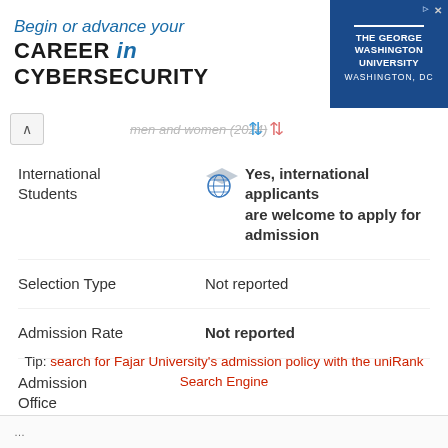[Figure (other): Advertisement banner for The George Washington University: 'Begin or advance your CAREER in CYBERSECURITY' with GWU logo on right side]
men and women (2024)
International Students
Yes, international applicants are welcome to apply for admission
Selection Type
Not reported
Admission Rate
Not reported
Admission Office
Tip: search for Fajar University's admission policy with the uniRank Search Engine
...